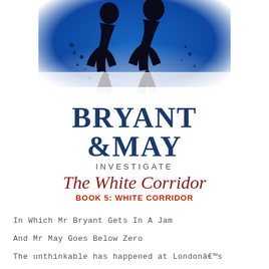[Figure (illustration): Book cover illustration showing silhouettes of two figures running against a blue background with scattered ink splatter effects, fading to white at the bottom.]
BRYANT &MAY
INVESTIGATE
The White Corridor
BOOK 5: WHITE CORRIDOR
In Which Mr Bryant Gets In A Jam
And Mr May Goes Below Zero
The unthinkable has happened at Londonâ€™s